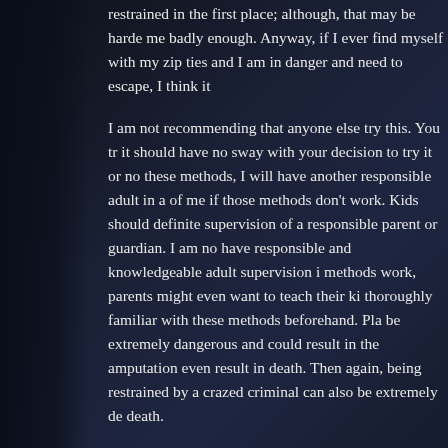restrained in the first place; although, that may be harder — me badly enough. Anyway, if I ever find myself with my zip ties and I am in danger and need to escape, I think it—
I am not recommending that anyone else try this. You tr— it should have no sway with your decision to try it or no— these methods, I will have another responsible adult in a— of me if those methods don't work. Kids should definite— supervision of a responsible parent or guardian. I am no— have responsible and knowledgeable adult supervision i— methods work, parents might even want to teach their ki— thoroughly familiar with these methods beforehand. Pla— be extremely dangerous and could result in the amputation— even result in death. Then again, being restrained by a crazed criminal can also be extremely de— death.